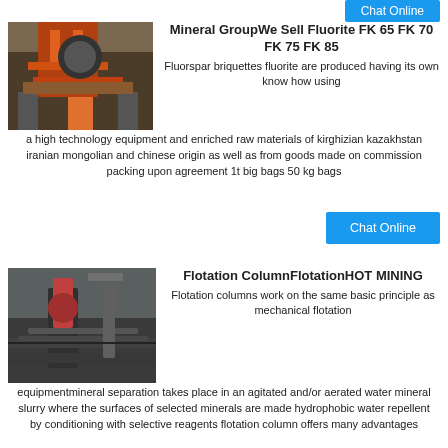[Figure (photo): Industrial mining equipment with orange structures]
Mineral GroupWe Sell Fluorite FK 65 FK 70 FK 75 FK 85
Fluorspar briquettes fluorite are produced having its own know how using a high technology equipment and enriched raw materials of kirghizian kazakhstan iranian mongolian and chinese origin as well as from goods made on commission packing upon agreement 1t big bags 50 kg bags
[Figure (photo): Mining flotation equipment with conveyor belts]
Flotation ColumnFlotationHOT MINING
Flotation columns work on the same basic principle as mechanical flotation equipmentmineral separation takes place in an agitated and/or aerated water mineral slurry where the surfaces of selected minerals are made hydrophobic water repellent by conditioning with selective reagents flotation column offers many advantages